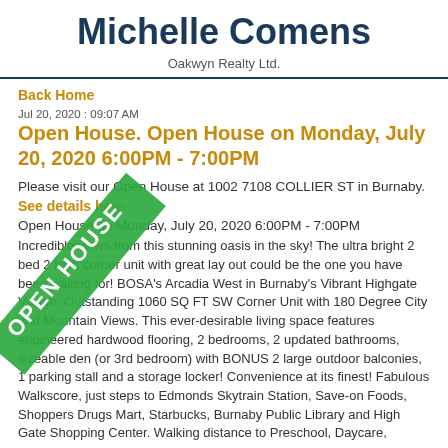Michelle Comens
Oakwyn Realty Ltd.
Back Home
Jul 20, 2020 : 09:07 AM
Open House. Open House on Monday, July 20, 2020 6:00PM - 7:00PM
[Figure (other): Green diagonal 'OPEN HOUSE' banner/stamp overlaid on the listing content]
Please visit our Open House at 1002 7108 COLLIER ST in Burnaby.
See details here
Open House on Monday, July 20, 2020 6:00PM - 7:00PM
Incredible views from this stunning oasis in the sky! The ultra bright 2 bed 2 bath corner unit with great lay out could be the one you have been waiting for! BOSA's Arcadia West in Burnaby's Vibrant Highgate Village. Outstanding 1060 SQ FT SW Corner Unit with 180 Degree City and Mountain Views. This ever-desirable living space features engineered hardwood flooring, 2 bedrooms, 2 updated bathrooms, sizeable den (or 3rd bedroom) with BONUS 2 large outdoor balconies, 1 parking stall and a storage locker! Convenience at its finest! Fabulous Walkscore, just steps to Edmonds Skytrain Station, Save-on Foods, Shoppers Drugs Mart, Starbucks, Burnaby Public Library and High Gate Shopping Center. Walking distance to Preschool, Daycare,